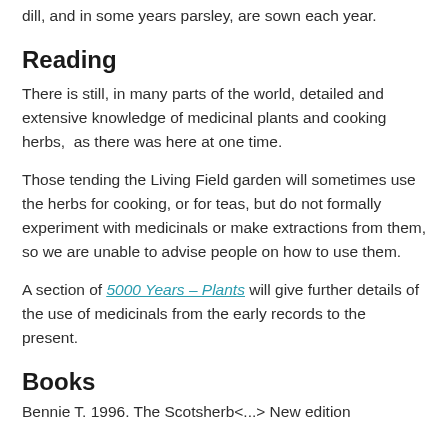dill, and in some years parsley, are sown each year.
Reading
There is still, in many parts of the world, detailed and extensive knowledge of medicinal plants and cooking herbs,  as there was here at one time.
Those tending the Living Field garden will sometimes use the herbs for cooking, or for teas, but do not formally experiment with medicinals or make extractions from them, so we are unable to advise people on how to use them.
A section of 5000 Years – Plants will give further details of the use of medicinals from the early records to the present.
Books
Bennie T. 1996. The Scotsherb...